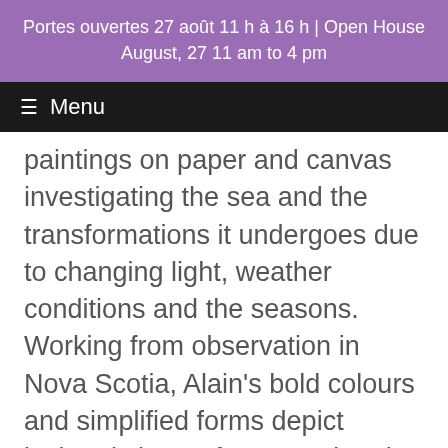Portes ouvertes 27 août 11 h à 16 h | Open House August, 27 11 am to 4 pm
≡ Menu
paintings on paper and canvas investigating the sea and the transformations it undergoes due to changing light, weather conditions and the seasons. Working from observation in Nova Scotia, Alain's bold colours and simplified forms depict isolated views of water painted from a still position of contemplation.
In the small gallery, Anne Fish's recent oi